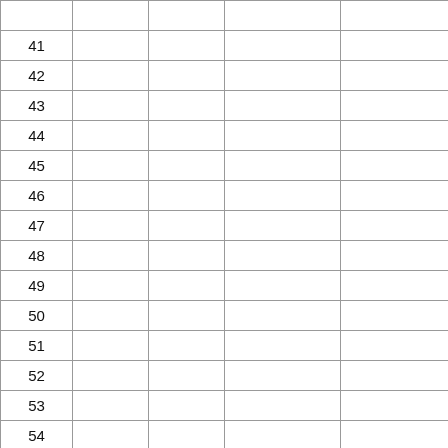|  |  |  |  |  |
| --- | --- | --- | --- | --- |
|  |  |  |  |  |
| 41 |  |  |  |  |
| 42 |  |  |  |  |
| 43 |  |  |  |  |
| 44 |  |  |  |  |
| 45 |  |  |  |  |
| 46 |  |  |  |  |
| 47 |  |  |  |  |
| 48 |  |  |  |  |
| 49 |  |  |  |  |
| 50 |  |  |  |  |
| 51 |  |  |  |  |
| 52 |  |  |  |  |
| 53 |  |  |  |  |
| 54 |  |  |  |  |